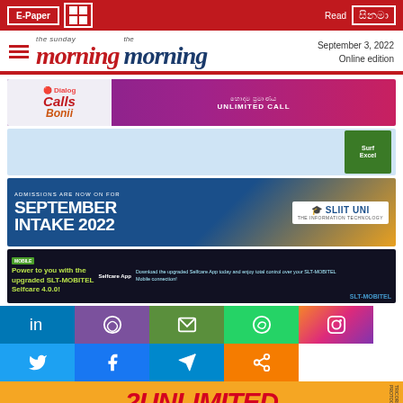E-Paper | Read [Sinhala text]
the sunday morning | the morning — September 3, 2022 Online edition
[Figure (infographic): Dialog 'Call Bonii' advertisement banner with purple gradient background and unlimited call promotion]
[Figure (infographic): Surf Excel detergent advertisement with light blue background]
[Figure (infographic): SLIIT University September Intake 2022 admissions advertisement on dark blue and gold background]
[Figure (infographic): SLT-MOBITEL Selfcare App 4.0.0 advertisement on dark background with green text]
[Figure (infographic): Social media icons grid: LinkedIn, Viber, Email, WhatsApp, Instagram, Twitter, Facebook, Telegram, Share]
[Figure (infographic): Airtel 2Unlimited advertisement banner with orange background and red italic text]